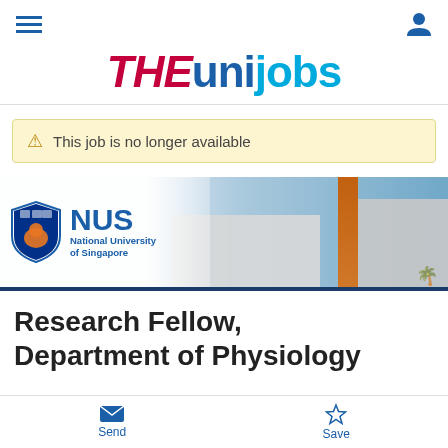[Figure (logo): THEunijobs logo with THE in red italic bold, uni in blue, jobs in light blue]
This job is no longer available
[Figure (photo): NUS (National University of Singapore) banner with logo on left and campus building photo on right]
Research Fellow, Department of Physiology
Send | Save